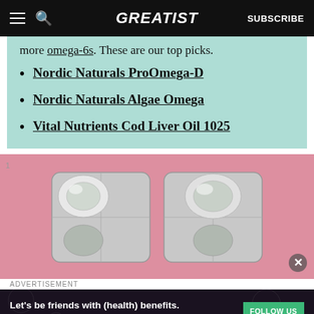GREATIST | SUBSCRIBE
more omega-6s. These are our top picks.
Nordic Naturals ProOmega-D
Nordic Naturals Algae Omega
Vital Nutrients Cod Liver Oil 1025
[Figure (photo): Two silver blister pack capsules on a pink background]
ADVERTISEMENT
Let's be friends with (health) benefits. Follow GREATIST on Instagram FOLLOW US